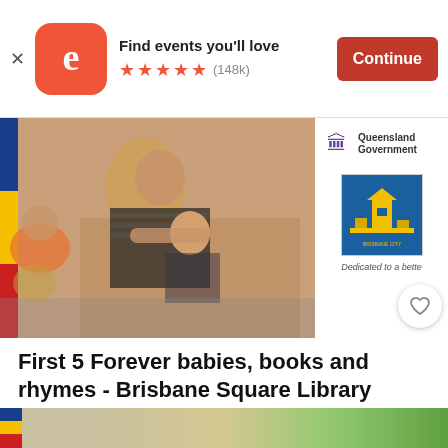[Figure (screenshot): Eventbrite app banner with orange logo, 'Find events you'll love' text, 5 star rating (148k reviews), and orange 'Continue' button]
[Figure (photo): Event listing photo showing a parent holding a child at a library event, with Queensland Government and Brisbane City Council logos on the right side]
First 5 Forever babies, books and rhymes - Brisbane Square Library
Thu, Sep 1, 11:30 AM
Brisbane Square Library • Brisbane, QLD
Free
[Figure (photo): Bottom strip showing the next event listing image with blue/yellow stripe on left side]